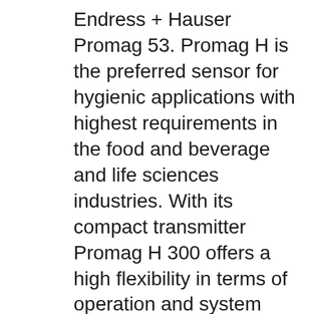Endress + Hauser Promag 53. Promag H is the preferred sensor for hygienic applications with highest requirements in the food and beverage and life sciences industries. With its compact transmitter Promag H 300 offers a high flexibility in terms of operation and system integration: access from one side, remote display and improved connectivity options.
Proline Promag 50, 53 Functional safety manual Special Documentation. Electromagnetic flowmeter. Hug OberflГ¤chentechnik AG relies on the portable Teqwave T from Endress+Hauser for the concentration measurement of their passivation and